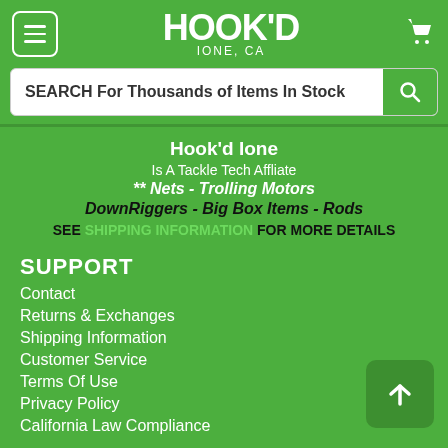[Figure (logo): Hook'd Ione CA logo with hamburger menu and cart icon on green header bar]
SEARCH For Thousands of Items In Stock
Hook'd Ione
Is A Tackle Tech Affliate
** Nets - Trolling Motors
DownRiggers - Big Box Items - Rods
SEE SHIPPING INFORMATION FOR MORE DETAILS
SUPPORT
Contact
Returns & Exchanges
Shipping Information
Customer Service
Terms Of Use
Privacy Policy
California Law Compliance
HOURS